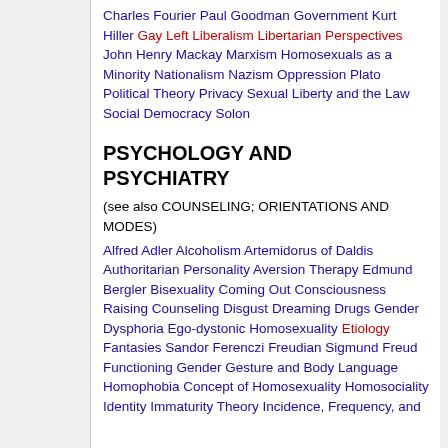Charles Fourier Paul Goodman Government Kurt Hiller Gay Left Liberalism Libertarian Perspectives John Henry Mackay Marxism Homosexuals as a Minority Nationalism Nazism Oppression Plato Political Theory Privacy Sexual Liberty and the Law Social Democracy Solon
PSYCHOLOGY AND PSYCHIATRY
(see also COUNSELING; ORIENTATIONS AND MODES)
Alfred Adler Alcoholism Artemidorus of Daldis Authoritarian Personality Aversion Therapy Edmund Bergler Bisexuality Coming Out Consciousness Raising Counseling Disgust Dreaming Drugs Gender Dysphoria Ego-dystonic Homosexuality Etiology Fantasies Sandor Ferenczi Freudian Sigmund Freud Functioning Gender Gesture and Body Language Homophobia Concept of Homosexuality Homosociality Identity Immaturity Theory Incidence, Frequency, and the History of...